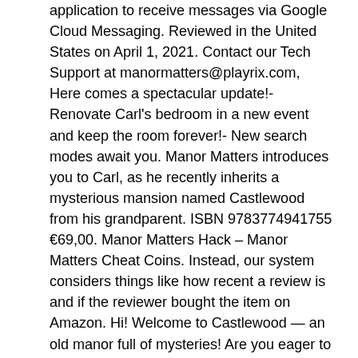application to receive messages via Google Cloud Messaging. Reviewed in the United States on April 1, 2021. Contact our Tech Support at manormatters@playrix.com, Here comes a spectacular update!- Renovate Carl's bedroom in a new event and keep the room forever!- New search modes await you. Manor Matters introduces you to Carl, as he recently inherits a mysterious mansion named Castlewood from his grandparent. ISBN 9783774941755 €69,00. Manor Matters Hack – Manor Matters Cheat Coins. Instead, our system considers things like how recent a review is and if the reviewer bought the item on Amazon. Hi! Welcome to Castlewood — an old manor full of mysteries! Are you eager to find it out? Manor Matters® - Is it safe to download? Can I get info on them? 3.5 out of 5 stars 229. Absolutely beautiful! Puzzle. What's hidden behind the tapestry? The game is not too easy and not so hard that you get frustrated. Welcome to the Manor Matters Wiki! These tips will help you succeed in tricky scenes: http://bit.ly/2GgiOH0. your mum, it meme wiki now I don't usually write reviews but felt compelled to do so for this one. All you need to do in order to hack Manor Matters for free coins is to enter your current username in our generator and leave all the work to it.